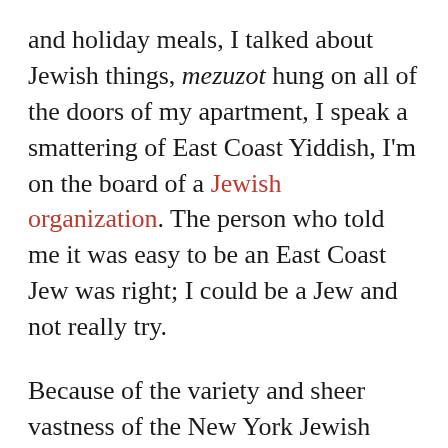and holiday meals, I talked about Jewish things, mezuzot hung on all of the doors of my apartment, I speak a smattering of East Coast Yiddish, I'm on the board of a Jewish organization. The person who told me it was easy to be an East Coast Jew was right; I could be a Jew and not really try.
Because of the variety and sheer vastness of the New York Jewish community, I was able to convert at a Reform synagogue, daven in a Conservative synagogue, visit a variety of Modern Orthodox synagogues, and end up in an all-Hebrew, lay-lead egalitarian minyan. But with the only synagogue in my neighborhood and other synagogues across bodies of water, I'm